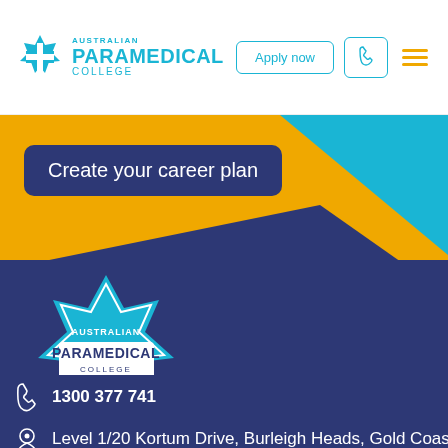[Figure (logo): Australian Paramedical College logo with star-of-life icon and teal text]
Apply now
[Figure (logo): Large Australian Paramedical College logo on dark blue background]
Create your career plan
1300 377 741
Level 1/20 Kortum Drive, Burleigh Heads, Gold Coast